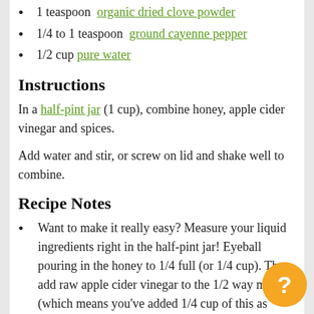1 teaspoon  organic dried clove powder
1/4 to 1 teaspoon  ground cayenne pepper
1/2 cup pure water
Instructions
In a half-pint jar (1 cup), combine honey, apple cider vinegar and spices.
Add water and stir, or screw on lid and shake well to combine.
Recipe Notes
Want to make it really easy? Measure your liquid ingredients right in the half-pint jar! Eyeball pouring in the honey to 1/4 full (or 1/4 cup). Then add raw apple cider vinegar to the 1/2 way mark (which means you've added 1/4 cup of this as well). Next add the powdered spices. Mix. Finally, fill to the top with water (1/2 cup).
Note: The instructions are listed below...